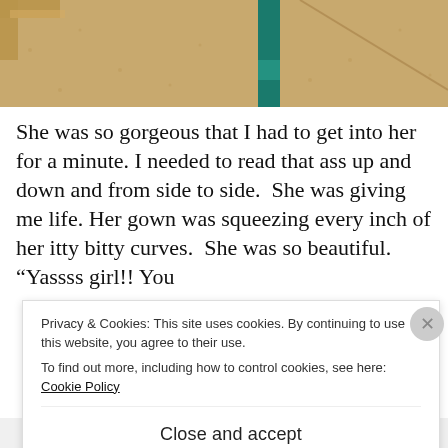[Figure (photo): Close-up photo of sandy/gravelly ground with a teal/green fabric item visible in the center-right area and wooden beams at the top-left edge.]
She was so gorgeous that I had to get into her for a minute. I needed to read that ass up and down and from side to side.  She was giving me life. Her gown was squeezing every inch of her itty bitty curves.  She was so beautiful. "Yassss girl!! You l
Privacy & Cookies: This site uses cookies. By continuing to use this website, you agree to their use.
To find out more, including how to control cookies, see here: Cookie Policy
Close and accept